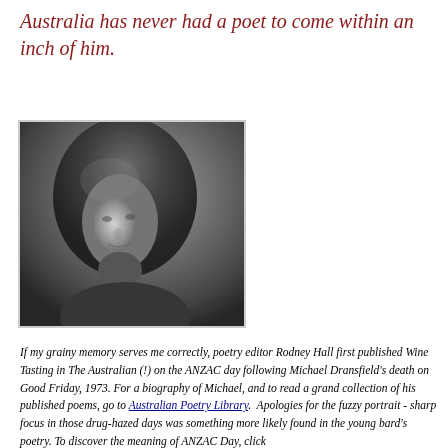Australia has never had a poet to come within an inch of him.
[Figure (photo): Black and white portrait photograph of a young man with long curly hair, looking slightly downward, with foliage in the background. The image has a soft, grainy quality.]
If my grainy memory serves me correctly, poetry editor Rodney Hall first published Wine Tasting in The Australian (!) on the ANZAC day following Michael Dransfield's death on Good Friday, 1973. For a biography of Michael, and to read a grand collection of his published poems, go to Australian Poetry Library.  Apologies for the fuzzy portrait - sharp focus in those drug-hazed days was something more likely found in the young bard's poetry. To discover the meaning of ANZAC Day, click